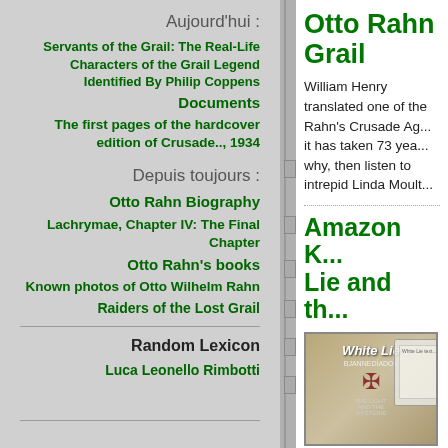Aujourd'hui :
Servants of the Grail: The Real-Life Characters of the Grail Legend Identified By Philip Coppens
Documents
The first pages of the hardcover edition of Crusade.., 1934
Depuis toujours :
Otto Rahn Biography
Lachrymae, Chapter IV: The Final Chapter
Otto Rahn's books
Known photos of Otto Wilhelm Rahn
Raiders of the Lost Grail
Random Lexicon
Luca Leonello Rimbotti
Otto Rahn Grail
William Henry translated one of the Rahn's Crusade Ag... it has taken 73 yea... why, then listen to intrepid Linda Moult...
Amazon K... Lie and th...
[Figure (photo): Book cover of 'White Lie' with a Kindle device shown next to it]